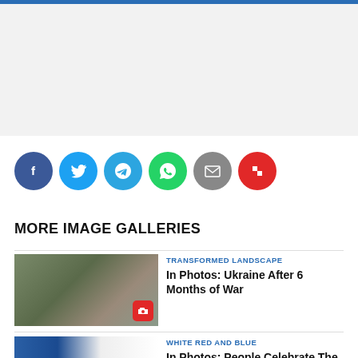[Figure (infographic): Social share buttons row: Facebook (dark blue), Twitter (light blue), Telegram (sky blue), WhatsApp (green), Email (grey), Flipboard (red)]
MORE IMAGE GALLERIES
[Figure (photo): Thumbnail of Ukraine war destruction scene, two people looking at rubble. Category: TRANSFORMED LANDSCAPE. Title: In Photos: Ukraine After 6 Months of War]
TRANSFORMED LANDSCAPE
In Photos: Ukraine After 6 Months of War
WHITE RED AND BLUE
In Photos: People Celebrate The D...